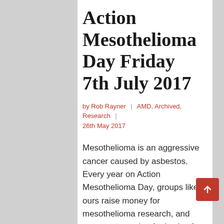Action Mesothelioma Day Friday 7th July 2017
by Rob Rayner | AMD, Archived, Research | 26th May 2017
Mesothelioma is an aggressive cancer caused by asbestos.  Every year on Action Mesothelioma Day, groups like ours raise money for mesothelioma research, and meet to campaign for justice for asbestos victims and their families. This year Action Mesothelioma Day will be on